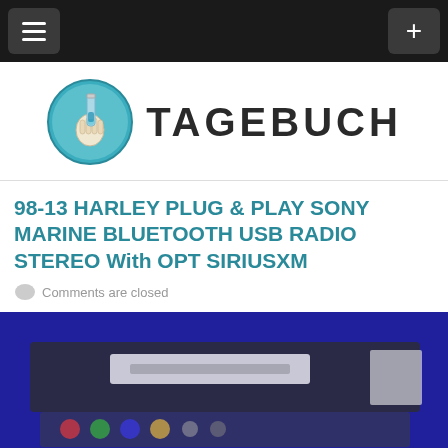Navigation bar with hamburger menu and plus button
[Figure (logo): Tagebuch logo: circular blue icon with hand holding test tube, next to bold uppercase text TAGEBUCH]
98-13 HARLEY PLUG & PLAY SONY MARINE BLUETOOTH USB RADIO STEREO With OPT SIRIUSXM
Comments are closed
[Figure (photo): Blurred product photo of a car/marine stereo radio unit with blue background and colorful control buttons]